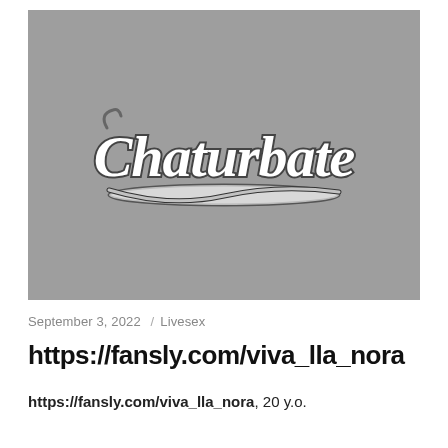[Figure (screenshot): Gray background image with the Chaturbate logo centered — white script lettering with dark outline reading 'Chaturbate' with a decorative underline swoosh.]
September 3, 2022 / Livesex
https://fansly.com/viva_lla_nora
https://fansly.com/viva_lla_nora, 20 y.o.